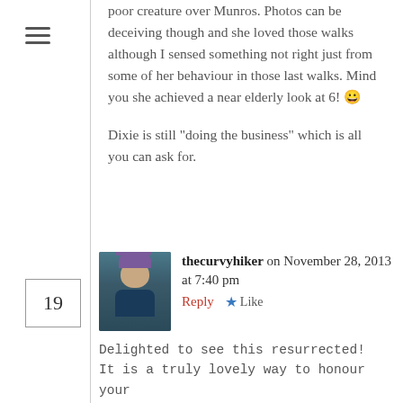poor creature over Munros. Photos can be deceiving though and she loved those walks although I sensed something not right just from some of her behaviour in those last walks. Mind you she achieved a near elderly look at 6! 😀

Dixie is still “doing the business” which is all you can ask for.
thecurvyhiker on November 28, 2013 at 7:40 pm
Delighted to see this resurrected! It is a truly lovely way to honour your epic adventures with Maisie.